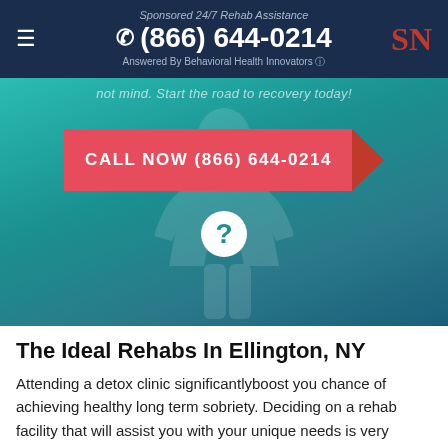Sponsored 24/7 Rehab Assistance | (866) 644-0214 | Answered By Behavioral Health Innovators | SN
[Figure (photo): Teal/blue-green hero image background with a 'CALL NOW (866) 644-0214' CTA button and a question mark circle icon, partial italic white text at top.]
The Ideal Rehabs In Ellington, NY
Attending a detox clinic significantlyboost you chance of achieving healthy long term sobriety. Deciding on a rehab facility that will assist you with your unique needs is very essential. The length of time that an indivudal